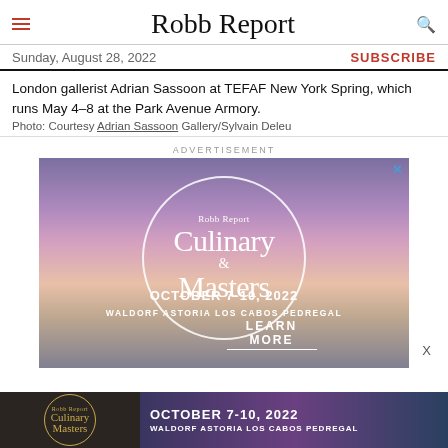Robb Report
Sunday, August 28, 2022
SUBSCRIBE
London gallerist Adrian Sassoon at TEFAF New York Spring, which runs May 4–8 at the Park Avenue Armory.
Photo: Courtesy Adrian Sassoon Gallery/Sylvain Deleu
ADVERTISEMENT
[Figure (infographic): Robb Report Culinary Masters advertisement. Large circular logo with text 'Robb Report Culinary Masters', dates 'OCTOBER 7-10, 2022', venue 'WALDORF ASTORIA LOS CABOS PEDREGAL', and 'LEARN MORE' call to action. Background shows sunset over ocean.]
[Figure (infographic): Bottom banner ad for Robb Report Culinary Masters. Left side shows gold circular logo on dark background. Right side shows 'OCTOBER 7-10, 2022' and 'WALDORF ASTORIA LOS CABOS PEDREGAL' on purple gradient background.]